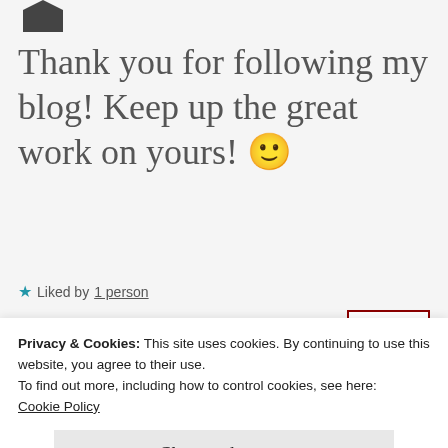[Figure (logo): Partial dark logo/icon at top left]
Thank you for following my blog! Keep up the great work on yours! 🙂
★ Liked by 1 person
REPLY
Privacy & Cookies: This site uses cookies. By continuing to use this website, you agree to their use.
To find out more, including how to control cookies, see here:
Cookie Policy
Close and accept
I derlly will, and I'm